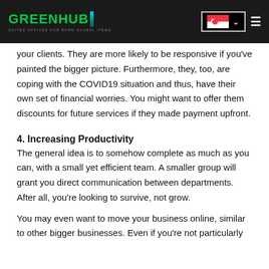GREENHUB — SUITED OFFICES FOR BORN GLOBAL ITEMS
your clients. They are more likely to be responsive if you've painted the bigger picture. Furthermore, they, too, are coping with the COVID19 situation and thus, have their own set of financial worries. You might want to offer them discounts for future services if they made payment upfront.
4. Increasing Productivity
The general idea is to somehow complete as much as you can, with a small yet efficient team. A smaller group will grant you direct communication between departments. After all, you're looking to survive, not grow.
You may even want to move your business online, similar to other bigger businesses. Even if you're not particularly